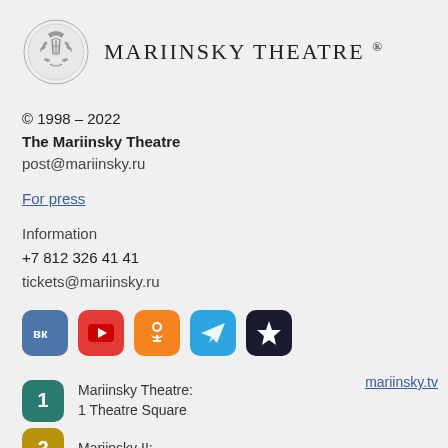[Figure (logo): Mariinsky Theatre logo: ornate crest with lyre and laurel wreath, followed by text MARIINSKY THEATRE with registered trademark symbol]
© 1998 – 2022
The Mariinsky Theatre
post@mariinsky.ru
For press
Information
+7 812 326 41 41
tickets@mariinsky.ru
[Figure (infographic): Social media icons: VK (blue), YouTube (red), Odnoklassniki (orange), Telegram (light blue), Mariinsky app (dark/black with star)]
Mariinsky Theatre:
1 Theatre Square
mariinsky.tv
Mariinsky II: